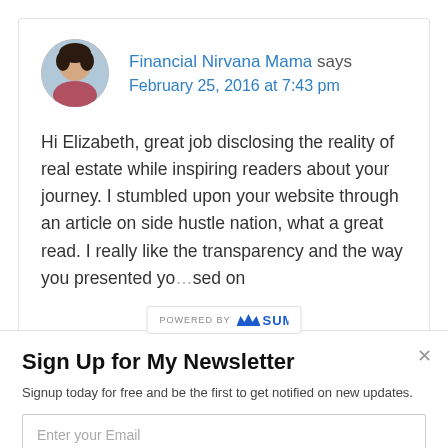Financial Nirvana Mama says February 25, 2016 at 7:43 pm
Hi Elizabeth, great job disclosing the reality of real estate while inspiring readers about your journey. I stumbled upon your website through an article on side hustle nation, what a great read. I really like the transparency and the way you presented yo...sed on
[Figure (logo): POWERED BY SUMO logo bar]
Sign Up for My Newsletter
Signup today for free and be the first to get notified on new updates.
Enter your Email
SUBSCRIBE NOW